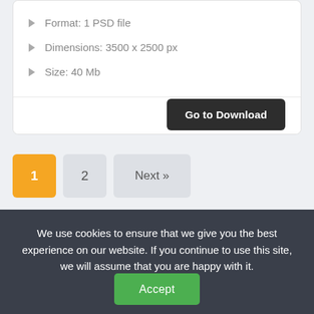Format: 1 PSD file
Dimensions: 3500 x 2500 px
Size: 40 Mb
Go to Download
1  2  Next »
We use cookies to ensure that we give you the best experience on our website. If you continue to use this site, we will assume that you are happy with it.
Accept